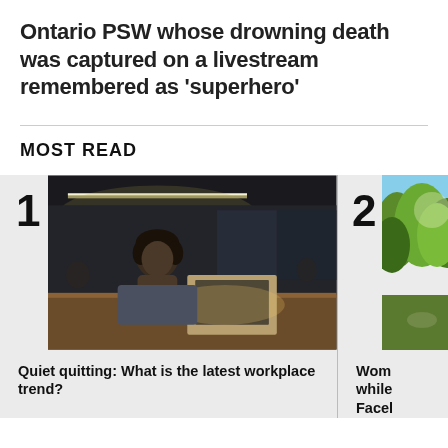Ontario PSW whose drowning death was captured on a livestream remembered as 'superhero'
MOST READ
[Figure (photo): Person sitting at a desk in a dark office with a laptop, chin resting on hands, moody lighting]
1
Quiet quitting: What is the latest workplace trend?
[Figure (photo): Outdoor park scene with green trees, partially cropped]
2
Wom while Facel